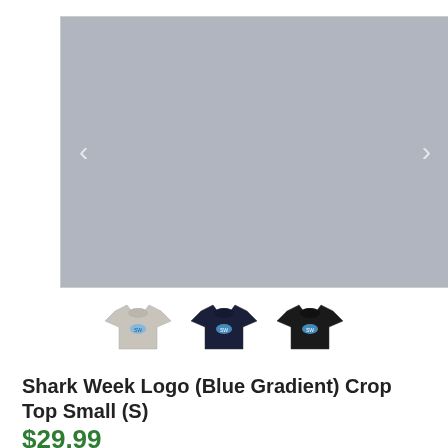[Figure (photo): Main product image area showing a light gray/blue-gray placeholder rectangle with left and right navigation arrows. Three t-shirt thumbnail images shown below: one light gray, one dark navy, one black — each with a small blue logo graphic.]
Shark Week Logo (Blue Gradient) Crop Top Small (S)
$29.99